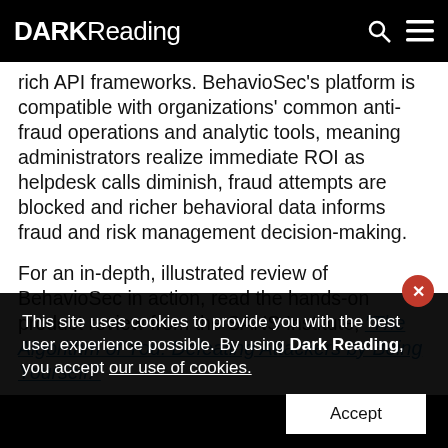DARK Reading
rich API frameworks. BehavioSec's platform is compatible with organizations' common anti-fraud operations and analytic tools, meaning administrators realize immediate ROI as helpdesk calls diminish, fraud attempts are blocked and richer behavioral data informs fraud and risk management decision-making.
For an in-depth, illustrated review of BehavioSec in action, read the hands-on product review from the SANS Institute, "The Algorithm of You: Defeating Attackers by Being Yourself."
This site uses cookies to provide you with the best user experience possible. By using Dark Reading, you accept our use of cookies.